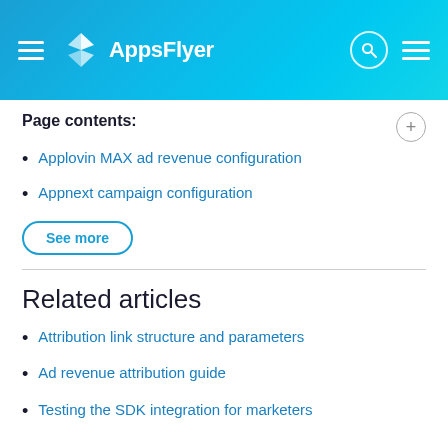AppsFlyer
Page contents:
Applovin MAX ad revenue configuration
Appnext campaign configuration
See more
Related articles
Attribution link structure and parameters
Ad revenue attribution guide
Testing the SDK integration for marketers